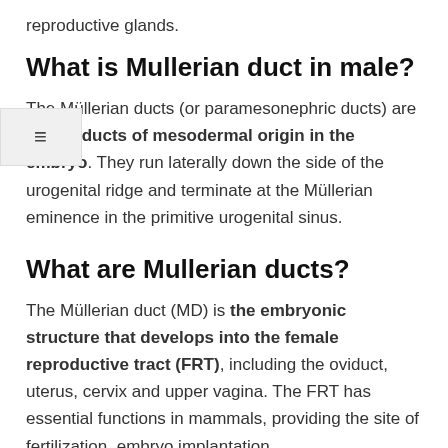reproductive glands.
What is Mullerian duct in male?
The Müllerian ducts (or paramesonephric ducts) are paired ducts of mesodermal origin in the embryo. They run laterally down the side of the urogenital ridge and terminate at the Müllerian eminence in the primitive urogenital sinus.
What are Mullerian ducts?
The Müllerian duct (MD) is the embryonic structure that develops into the female reproductive tract (FRT), including the oviduct, uterus, cervix and upper vagina. The FRT has essential functions in mammals, providing the site of fertilization, embryo implantation